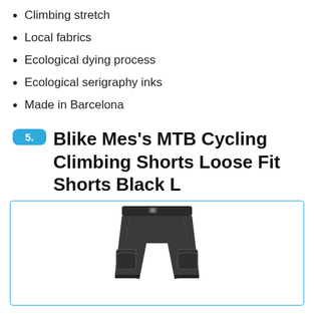Climbing stretch
Local fabrics
Ecological dying process
Ecological serigraphy inks
Made in Barcelona
5. Blike Mes's MTB Cycling Climbing Shorts Loose Fit Shorts Black L
[Figure (photo): Product photo of black MTB cycling climbing shorts]